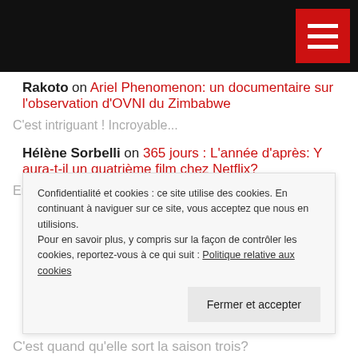[navigation bar with hamburger menu]
Rakoto on Ariel Phenomenon: un documentaire sur l'observation d'OVNI du Zimbabwe
C'est intriguant ! Incroyable...
Hélène Sorbelli on 365 jours : L'année d'après: Y aura-t-il un quatrième film chez Netflix?
En espérant que on va avoir la suite très vite et…
Hélène Sorbelli on 365 jours : L'année d'après:
Confidentialité et cookies : ce site utilise des cookies. En continuant à naviguer sur ce site, vous acceptez que nous en utilisions. Pour en savoir plus, y compris sur la façon de contrôler les cookies, reportez-vous à ce qui suit : Politique relative aux cookies
Fermer et accepter
C'est quand qu'elle sort la saison trois?